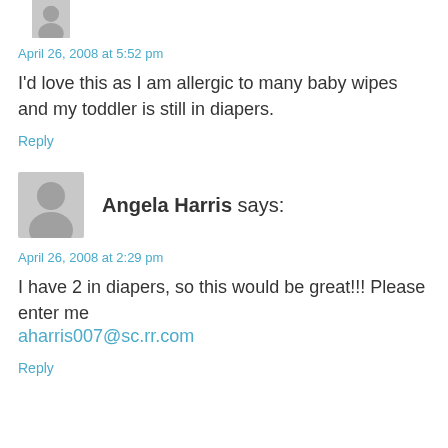[Figure (illustration): Partial gray avatar silhouette icon at top of page]
April 26, 2008 at 5:52 pm
I'd love this as I am allergic to many baby wipes and my toddler is still in diapers.
Reply
[Figure (illustration): Gray avatar silhouette icon with person shape]
Angela Harris says:
April 26, 2008 at 2:29 pm
I have 2 in diapers, so this would be great!!! Please enter me aharris007@sc.rr.com
Reply